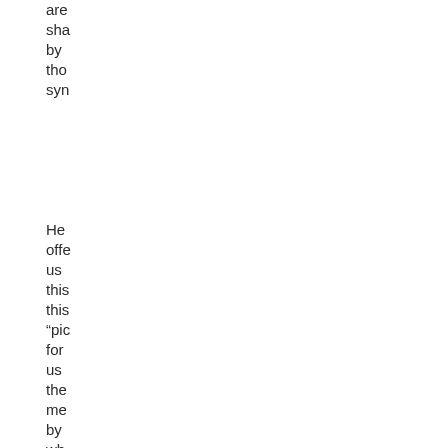are sha by tho syn
He offe us this this "pic for us the me by wh a con of fee is bui dur for